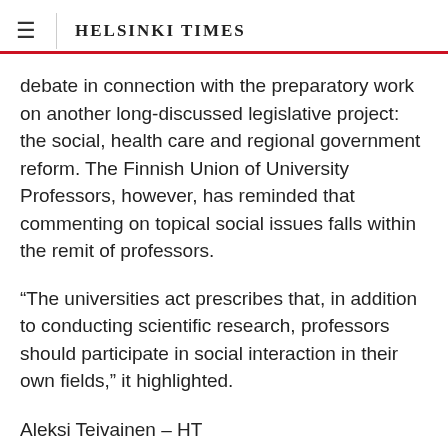≡  HELSINKI TIMES
debate in connection with the preparatory work on another long-discussed legislative project: the social, health care and regional government reform. The Finnish Union of University Professors, however, has reminded that commenting on topical social issues falls within the remit of professors.
“The universities act prescribes that, in addition to conducting scientific research, professors should participate in social interaction in their own fields,” it highlighted.
Aleksi Teivainen – HT
Source: Uusi Suomi